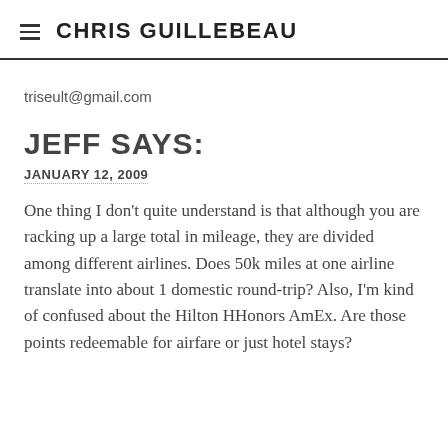CHRIS GUILLEBEAU
triseult@gmail.com
JEFF SAYS:
JANUARY 12, 2009
One thing I don't quite understand is that although you are racking up a large total in mileage, they are divided among different airlines. Does 50k miles at one airline translate into about 1 domestic round-trip? Also, I'm kind of confused about the Hilton HHonors AmEx. Are those points redeemable for airfare or just hotel stays?